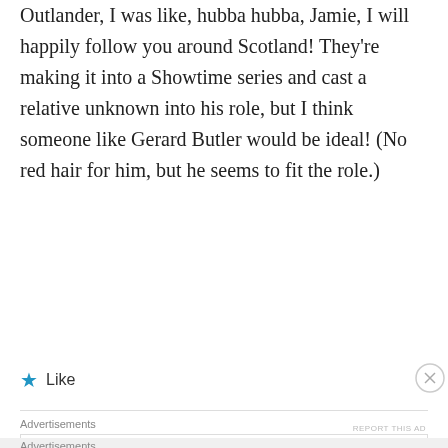Outlander, I was like, hubba hubba, Jamie, I will happily follow you around Scotland! They're making it into a Showtime series and cast a relative unknown into his role, but I think someone like Gerard Butler would be ideal! (No red hair for him, but he seems to fit the role.)
★ Like
Advertisements
[Figure (screenshot): WordPress ad: Build a writing habit. Post on the go. GET THE APP with WordPress logo.]
Advertisements
[Figure (screenshot): DuckDuckGo ad: Search, browse, and email with more privacy. All in One Free App.]